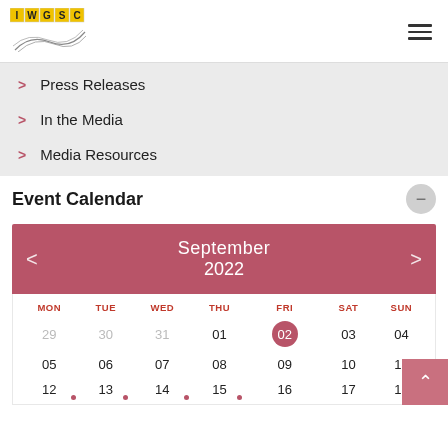[Figure (logo): IWGSC logo with yellow letter blocks and wheat graphic]
Press Releases
In the Media
Media Resources
Event Calendar
[Figure (other): September 2022 calendar widget showing dates 29-18, with today circle on 02, dots on 11, 12, 13, 14, 15]